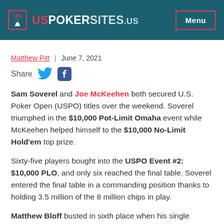USPOKERSITES.US | Menu
Matthew Pitt | June 7, 2021
Share [Twitter] [Facebook]
Sam Soverel and Joe McKeehen both secured U.S. Poker Open (USPO) titles over the weekend. Soverel triumphed in the $10,000 Pot-Limit Omaha event while McKeehen helped himself to the $10,000 No-Limit Hold'em top prize.
Sixty-five players bought into the USPO Event #2: $10,000 PLO, and only six reached the final table. Soverel entered the final table in a commanding position thanks to holding 3.5 million of the 8 million chips in play.
Matthew Bloff busted in sixth place when his single...